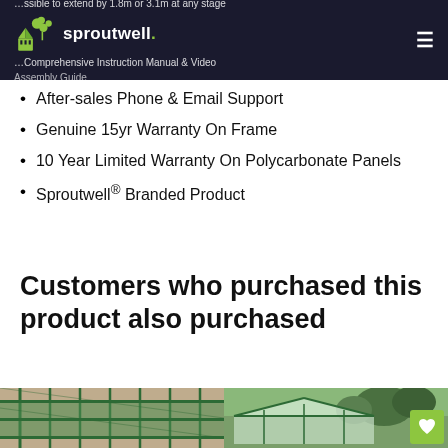sproutwell — Possible to extend by 1.8m or 3.1m at any stage | Comprehensive Instruction Manual & Video Assembly Guide
Assembly Guide
After-sales Phone & Email Support
Genuine 15yr Warranty On Frame
10 Year Limited Warranty On Polycarbonate Panels
Sproutwell® Branded Product
Customers who purchased this product also purchased
[Figure (photo): Interior view of a green metal greenhouse with shelving racks and polycarbonate panels visible from above]
[Figure (photo): Exterior view of a green polycarbonate greenhouse installed in a garden with trees in the background, with a green heart/wishlist button overlay]